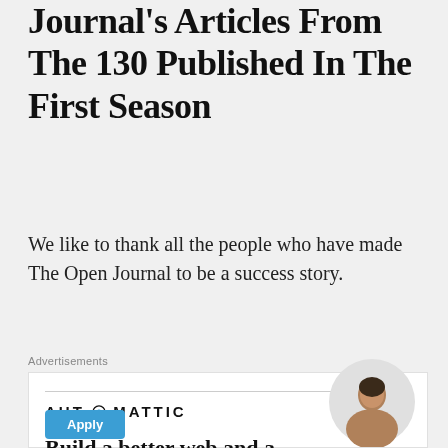Journal's Articles From The 130 Published In The First Season
We like to thank all the people who have made The Open Journal to be a success story.
Advertisements
[Figure (infographic): Automattic advertisement banner with logo, tagline 'Build a better web and a better world.', an Apply button, and a photo of a person.]